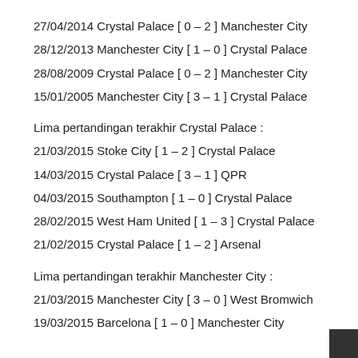27/04/2014 Crystal Palace [ 0 – 2 ] Manchester City
28/12/2013 Manchester City [ 1 – 0 ] Crystal Palace
28/08/2009 Crystal Palace [ 0 – 2 ] Manchester City
15/01/2005 Manchester City [ 3 – 1 ] Crystal Palace
Lima pertandingan terakhir Crystal Palace :
21/03/2015 Stoke City [ 1 – 2 ] Crystal Palace
14/03/2015 Crystal Palace [ 3 – 1 ] QPR
04/03/2015 Southampton [ 1 – 0 ] Crystal Palace
28/02/2015 West Ham United [ 1 – 3 ] Crystal Palace
21/02/2015 Crystal Palace [ 1 – 2 ] Arsenal
Lima pertandingan terakhir Manchester City :
21/03/2015 Manchester City [ 3 – 0 ] West Bromwich
19/03/2015 Barcelona [ 1 – 0 ] Manchester City